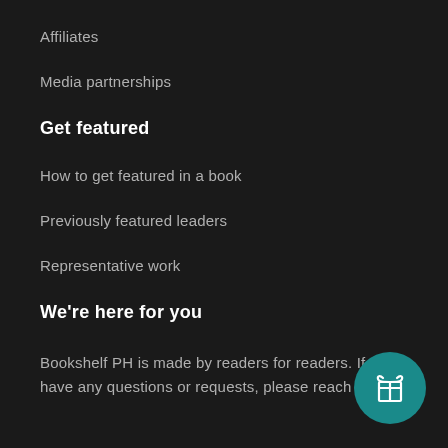Affiliates
Media partnerships
Get featured
How to get featured in a book
Previously featured leaders
Representative work
We're here for you
Bookshelf PH is made by readers for readers. If you have any questions or requests, please reach out to